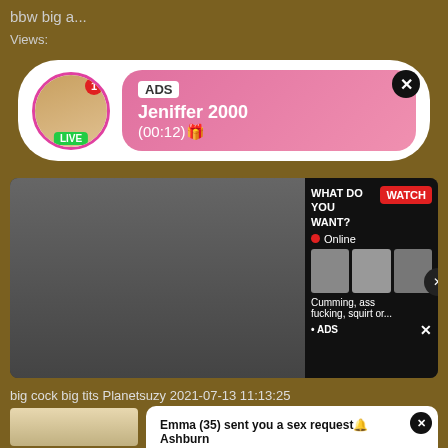bbw big a...
Views:
[Figure (screenshot): Ad bubble with avatar labeled LIVE, pink gradient background showing 'ADS Jeniffer 2000 (00:12)' with close button]
[Figure (screenshot): Video content area with overlay ad panel: WHAT DO YOU WANT? WATCH button, Online indicator, thumbnail images, text 'Cumming, ass fucking, squirt or...' and ADS label]
big cock big tits Planetsuzy 2021-07-13 11:13:25
[Figure (photo): Blonde woman photo thumbnail]
[Figure (screenshot): White popup notification: Emma (35) sent you a sex request Ashburn. Tap and get her contact Ashburn with close button]